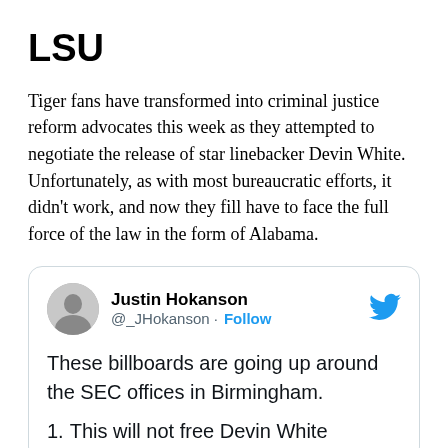LSU
Tiger fans have transformed into criminal justice reform advocates this week as they attempted to negotiate the release of star linebacker Devin White. Unfortunately, as with most bureaucratic efforts, it didn't work, and now they fill have to face the full force of the law in the form of Alabama.
[Figure (screenshot): Embedded tweet from Justin Hokanson (@_JHokanson) with Follow button and Twitter bird logo. Tweet text: 'These billboards are going up around the SEC offices in Birmingham.' followed by '1. This will not free Devin White']
These billboards are going up around the SEC offices in Birmingham.
1. This will not free Devin White